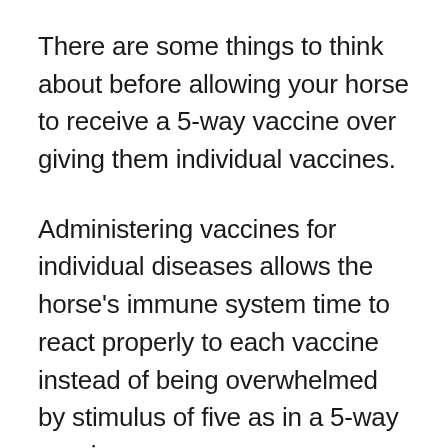There are some things to think about before allowing your horse to receive a 5-way vaccine over giving them individual vaccines.
Administering vaccines for individual diseases allows the horse's immune system time to react properly to each vaccine instead of being overwhelmed by stimulus of five as in a 5-way vaccine.
Research has been conducted which